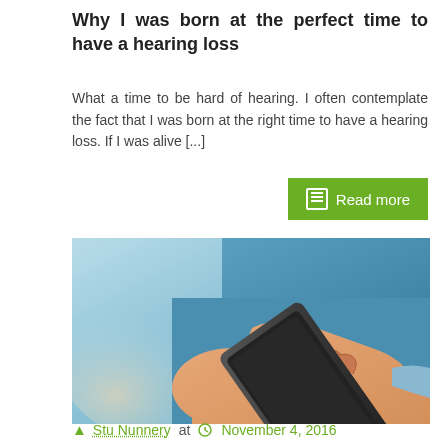Why I was born at the perfect time to have a hearing loss
What a time to be hard of hearing. I often contemplate the fact that I was born at the right time to have a hearing loss. If I was alive [...]
[Figure (photo): Person in blue shirt holding a smartphone, close-up of hands]
Stu Nunnery at  November 4, 2016